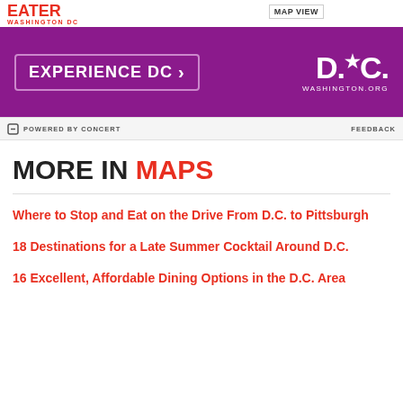EATER WASHINGTON DC
[Figure (screenshot): Map thumbnail in top right corner]
MAP VIEW
[Figure (illustration): Advertisement banner: EXPERIENCE DC -> with Washington.org DC logo on purple background]
POWERED BY CONCERT   FEEDBACK
MORE IN MAPS
Where to Stop and Eat on the Drive From D.C. to Pittsburgh
18 Destinations for a Late Summer Cocktail Around D.C.
16 Excellent, Affordable Dining Options in the D.C. Area